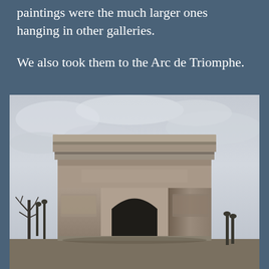paintings were the much larger ones hanging in other galleries.
We also took them to the Arc de Triomphe.
[Figure (photo): Photograph of the Arc de Triomphe in Paris, taken from street level looking up at the monument. The arc is shown against a cloudy grey sky. Street lamps and a bare tree are visible in the foreground.]